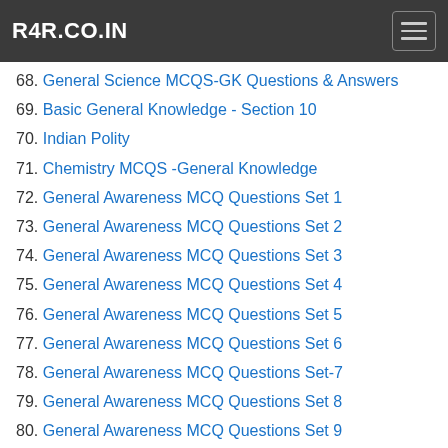R4R.CO.IN
68. General Science MCQS-GK Questions & Answers
69. Basic General Knowledge - Section 10
70. Indian Polity
71. Chemistry MCQS -General Knowledge
72. General Awareness MCQ Questions Set 1
73. General Awareness MCQ Questions Set 2
74. General Awareness MCQ Questions Set 3
75. General Awareness MCQ Questions Set 4
76. General Awareness MCQ Questions Set 5
77. General Awareness MCQ Questions Set 6
78. General Awareness MCQ Questions Set-7
79. General Awareness MCQ Questions Set 8
80. General Awareness MCQ Questions Set 9
81. General Awareness MCQ Questions Set 10
82. General Awareness MCQ Questions Set 11
83. General Awareness MCQ Questions Set 12
84. General Awareness MCQ Questions Set-13